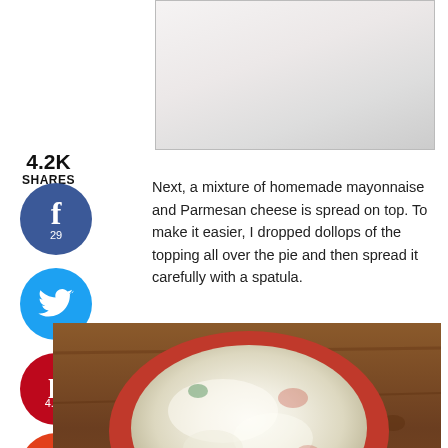[Figure (photo): Top portion of a food preparation photo showing a marble surface with kitchen tools]
4.2K
SHARES
[Figure (infographic): Social sharing buttons: Facebook (29 shares), Twitter, Pinterest (4.2K), Yum]
Next, a mixture of homemade mayonnaise and Parmesan cheese is spread on top. To make it easier, I dropped dollops of the topping all over the pie and then spread it carefully with a spatula.
[Figure (photo): A red ceramic pie dish filled with tomato pie topped with a white mayonnaise and Parmesan cheese mixture, sitting on a wooden surface]
[Figure (photo): Bottom partial view of another food preparation dish]